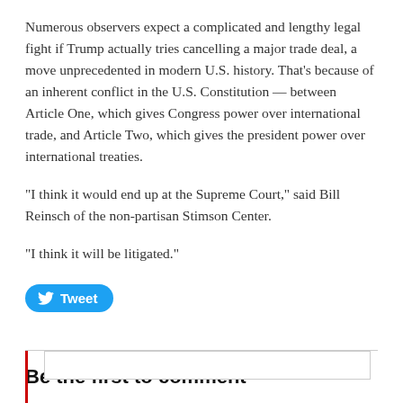Numerous observers expect a complicated and lengthy legal fight if Trump actually tries cancelling a major trade deal, a move unprecedented in modern U.S. history. That’s because of an inherent conflict in the U.S. Constitution — between Article One, which gives Congress power over international trade, and Article Two, which gives the president power over international treaties.
“I think it would end up at the Supreme Court,” said Bill Reinsch of the non-partisan Stimson Center.
“I think it will be litigated.”
[Figure (other): Tweet button with Twitter bird icon]
Be the first to comment